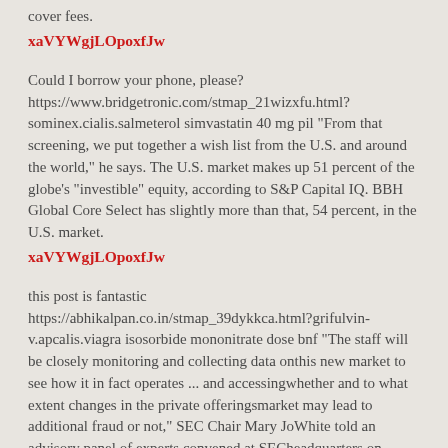cover fees.
xaVYWgjLOpoxfJw
Could I borrow your phone, please? https://www.bridgetronic.com/stmap_21wizxfu.html?sominex.cialis.salmeterol simvastatin 40 mg pil "From that screening, we put together a wish list from the U.S. and around the world," he says. The U.S. market makes up 51 percent of the globe's "investible" equity, according to S&P Capital IQ. BBH Global Core Select has slightly more than that, 54 percent, in the U.S. market.
xaVYWgjLOpoxfJw
this post is fantastic https://abhikalpan.co.in/stmap_39dykkca.html?grifulvin-v.apcalis.viagra isosorbide mononitrate dose bnf "The staff will be closely monitoring and collecting data onthis new market to see how it in fact operates ... and accessingwhether and to what extent changes in the private offeringsmarket may lead to additional fraud or not," SEC Chair Mary JoWhite told an advisory panel of experts convened at SECheadquarters on Tuesday.
xaVYWgjLOpoxfJw